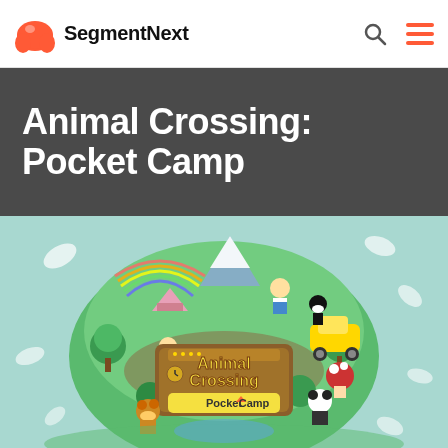SegmentNext
Animal Crossing: Pocket Camp
[Figure (illustration): Animal Crossing: Pocket Camp game logo art showing cartoon animal characters on a globe with trees, buildings, and various game elements on a mint/teal background]